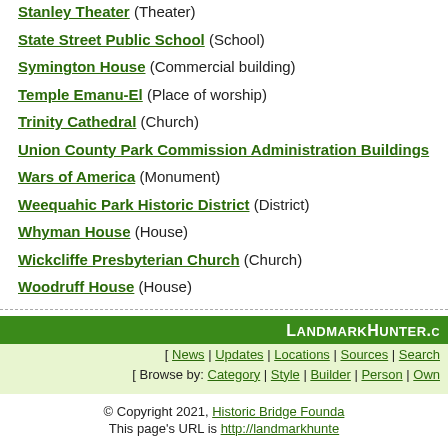Stanley Theater (Theater)
State Street Public School (School)
Symington House (Commercial building)
Temple Emanu-El (Place of worship)
Trinity Cathedral (Church)
Union County Park Commission Administration Buildings
Wars of America (Monument)
Weequahic Park Historic District (District)
Whyman House (House)
Wickcliffe Presbyterian Church (Church)
Woodruff House (House)
LandmarkHunter.com | News | Updates | Locations | Sources | Search | Browse by: Category | Style | Builder | Person | Owner © Copyright 2021, Historic Bridge Foundation. This page's URL is http://landmarkhunter...